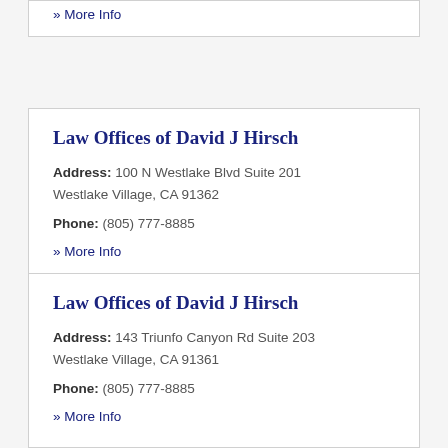» More Info
Law Offices of David J Hirsch
Address: 100 N Westlake Blvd Suite 201 Westlake Village, CA 91362
Phone: (805) 777-8885
» More Info
Law Offices of David J Hirsch
Address: 143 Triunfo Canyon Rd Suite 203 Westlake Village, CA 91361
Phone: (805) 777-8885
» More Info